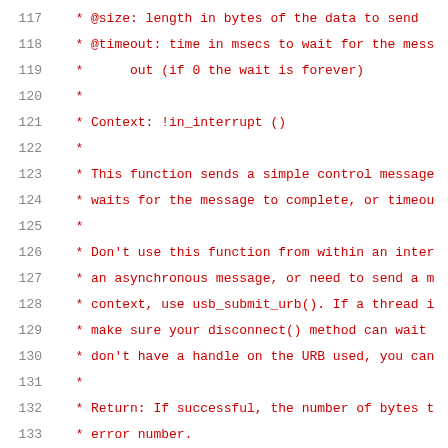117   * @size: length in bytes of the data to send
118   * @timeout: time in msecs to wait for the mess
119   *       out (if 0 the wait is forever)
120   *
121   * Context: !in_interrupt ()
122   *
123   * This function sends a simple control message
124   * waits for the message to complete, or timeou
125   *
126   * Don't use this function from within an inter
127   * an asynchronous message, or need to send a m
128   * context, use usb_submit_urb(). If a thread i
129   * make sure your disconnect() method can wait
130   * don't have a handle on the URB used, you can
131   *
132   * Return: If successful, the number of bytes t
133   * error number.
134   */
135  int usb_control_msg(struct usb_device *dev, uns
136                      __u8 requesttype, __u16 val
137                      __u16 size, int timeout)